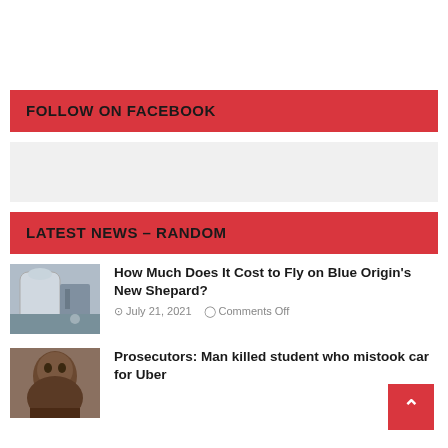FOLLOW ON FACEBOOK
[Figure (other): Gray placeholder box]
LATEST NEWS – RANDOM
[Figure (photo): Thumbnail photo of Blue Origin New Shepard rocket/capsule]
How Much Does It Cost to Fly on Blue Origin's New Shepard?
July 21, 2021   Comments Off
[Figure (photo): Thumbnail photo of man's face (prosecutor news article)]
Prosecutors: Man killed student who mistook car for Uber